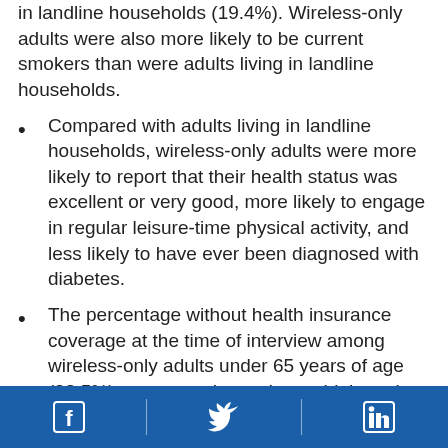in landline households (19.4%). Wireless-only adults were also more likely to be current smokers than were adults living in landline households.
Compared with adults living in landline households, wireless-only adults were more likely to report that their health status was excellent or very good, more likely to engage in regular leisure-time physical activity, and less likely to have ever been diagnosed with diabetes.
The percentage without health insurance coverage at the time of interview among wireless-only adults under 65 years of age (28.5%) was more than twice as high as the percentage among adults in that age group living
Facebook | Twitter | LinkedIn